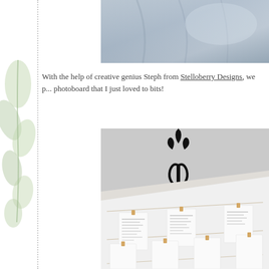[Figure (photo): Blue-gray draped fabric background, upper portion of a display, cropped]
With the help of creative genius Steph from Stelloberry Designs, we p... photoboard that I just loved to bits!
[Figure (photo): A white wooden photoboard with small cards clipped by wooden pegs to horizontal strings; a black decorative iron fleur-de-lis ornament stands behind the board against a gray wall]